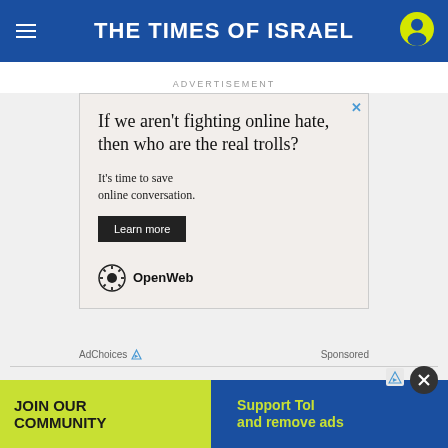THE TIMES OF ISRAEL
ADVERTISEMENT
[Figure (infographic): Advertisement for OpenWeb: 'If we aren't fighting online hate, then who are the real trolls? It's time to save online conversation. Learn more' with OpenWeb logo]
AdChoices  Sponsored
[Figure (infographic): Bottom banner: JOIN OUR COMMUNITY | Support ToI and remove ads]